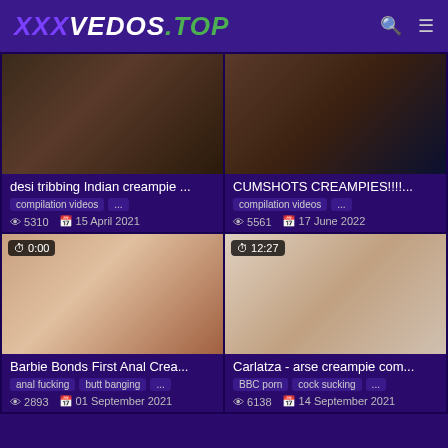XXXVEDOS.TOP
[Figure (screenshot): Video thumbnail for desi tribbing Indian creampie]
desi tribbing Indian creampie ...
compilation videos  ...
5310   15 April 2021
[Figure (screenshot): Video thumbnail for CUMSHOTS CREAMPIES!!!!]
CUMSHOTS CREAMPIES!!!!...
compilation videos  ...
5561   17 June 2022
[Figure (screenshot): Video thumbnail for Barbie Bonds First Anal Crea... duration 0:00]
Barbie Bonds First Anal Crea...
anal fucking  butt banging  ...
2893   01 September 2021
[Figure (screenshot): Video thumbnail for Carlatza - arse creampie com... duration 12:27]
Carlatza - arse creampie com...
BBC porn  cock sucking  ...
6138   14 September 2021